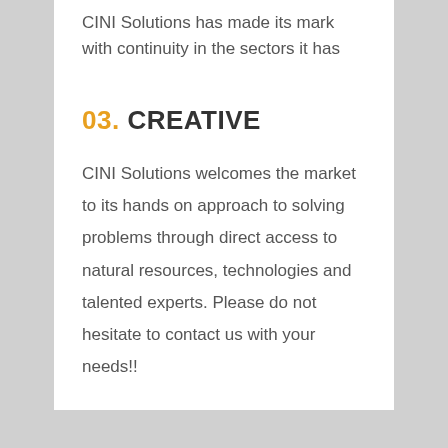CINI Solutions has made its mark with continuity in the sectors it has
03. CREATIVE
CINI Solutions welcomes the market to its hands on approach to solving problems through direct access to natural resources, technologies and talented experts. Please do not hesitate to contact us with your needs!!